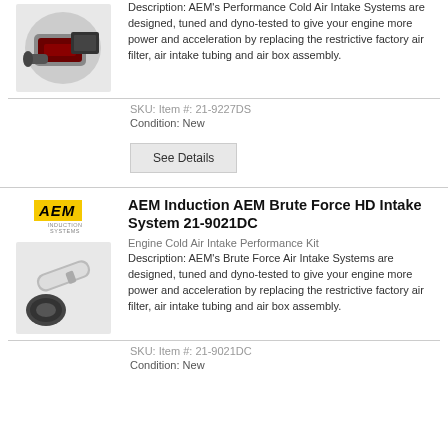Description: AEM's Performance Cold Air Intake Systems are designed, tuned and dyno-tested to give your engine more power and acceleration by replacing the restrictive factory air filter, air intake tubing and air box assembly.
SKU: Item #: 21-9227DS
Condition: New
See Details
[Figure (photo): AEM logo in yellow box with italic bold text]
AEM Induction AEM Brute Force HD Intake System 21-9021DC
Engine Cold Air Intake Performance Kit
Description: AEM's Brute Force Air Intake Systems are designed, tuned and dyno-tested to give your engine more power and acceleration by replacing the restrictive factory air filter, air intake tubing and air box assembly.
SKU: Item #: 21-9021DC
Condition: New